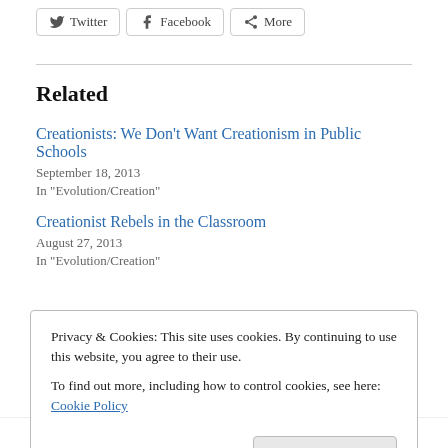[Figure (other): Social share buttons: Twitter, Facebook, More]
Related
Creationists: We Don’t Want Creationism in Public Schools
September 18, 2013
In "Evolution/Creation"
Creationist Rebels in the Classroom
August 27, 2013
In "Evolution/Creation"
Privacy & Cookies: This site uses cookies. By continuing to use this website, you agree to their use.
To find out more, including how to control cookies, see here: Cookie Policy
February 9, 2015   2 Replies